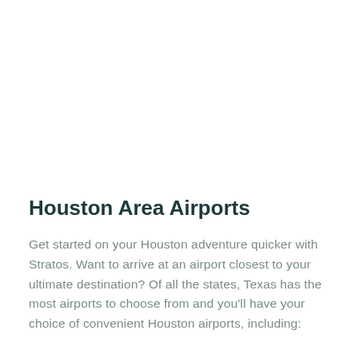Houston Area Airports
Get started on your Houston adventure quicker with Stratos. Want to arrive at an airport closest to your ultimate destination? Of all the states, Texas has the most airports to choose from and you'll have your choice of convenient Houston airports, including: